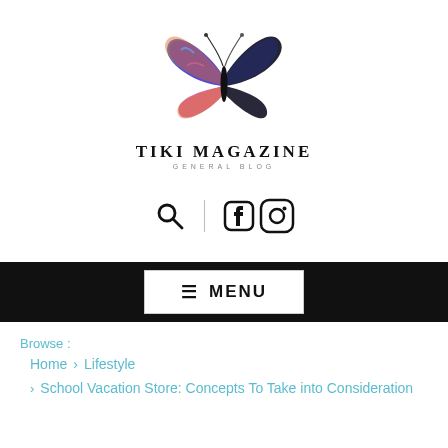[Figure (logo): Tiki Magazine logo with a colorful butterfly (blue, purple, orange wings) above the text TIKI MAGAZINE and subtitle GENERAL BLOG]
[Figure (infographic): Search icon (magnifying glass), vertical divider, Facebook icon, and Instagram icon in the toolbar area]
[Figure (infographic): Black navigation bar with a white MENU button containing a hamburger icon]
Browse :
Home > Lifestyle
> School Vacation Store: Concepts To Take into Consideration